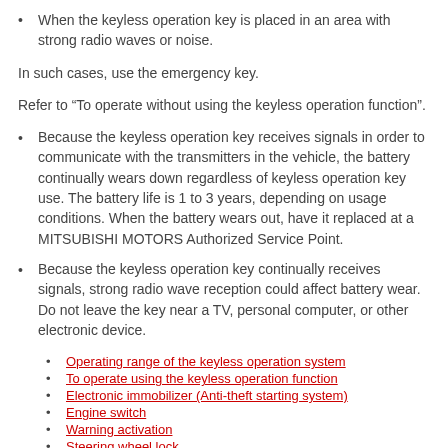When the keyless operation key is placed in an area with strong radio waves or noise.
In such cases, use the emergency key.
Refer to “To operate without using the keyless operation function”.
Because the keyless operation key receives signals in order to communicate with the transmitters in the vehicle, the battery continually wears down regardless of keyless operation key use. The battery life is 1 to 3 years, depending on usage conditions. When the battery wears out, have it replaced at a MITSUBISHI MOTORS Authorized Service Point.
Because the keyless operation key continually receives signals, strong radio wave reception could affect battery wear. Do not leave the key near a TV, personal computer, or other electronic device.
Operating range of the keyless operation system
To operate using the keyless operation function
Electronic immobilizer (Anti-theft starting system)
Engine switch
Warning activation
Steering wheel lock